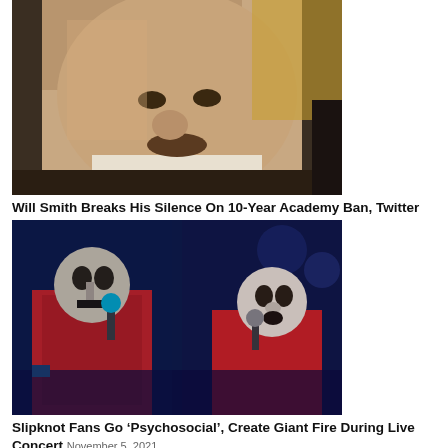[Figure (photo): Close-up photo of Will Smith at an event, wearing a white shirt/suit against a dark background]
Will Smith Breaks His Silence On 10-Year Academy Ban, Twitter Reacts! April 8, 2022
[Figure (photo): Two Slipknot band members on stage wearing masks and red jumpsuits, singing into microphones with blue stage lighting]
Slipknot Fans Go ‘Psychosocial’, Create Giant Fire During Live Concert November 5, 2021